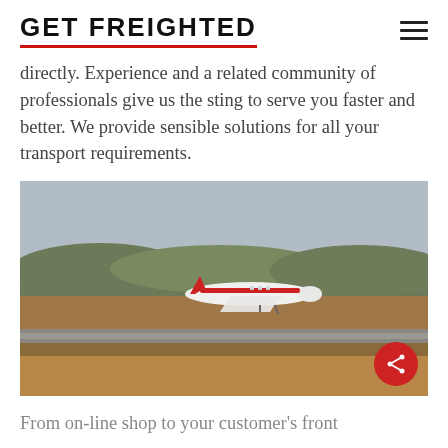GET FREIGHTED
directly. Experience and a related community of professionals give us the sting to serve you faster and better. We provide sensible solutions for all your transport requirements.
[Figure (photo): Airplane taking off from a runway with trees and hills in the background under an overcast sky.]
From on-line shop to your customer's front